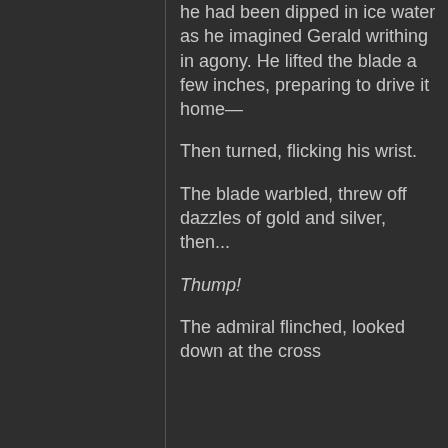he had been dipped in ice water as he imagined Gerald writhing in agony. He lifted the blade a few inches, preparing to drive it home—
Then turned, flicking his wrist.
The blade warbled, threw off dazzles of gold and silver, then...
Thump!
The admiral flinched, looked down at the cross